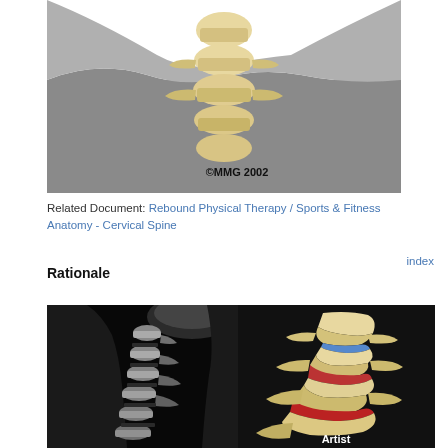[Figure (illustration): Medical illustration of cervical spine from front view, showing vertebrae against gray anatomical background with ©MMG 2002 watermark]
Related Document: Rebound Physical Therapy / Sports & Fitness Anatomy - Cervical Spine
Rationale
index
[Figure (photo): X-ray image of cervical spine in lateral view on the left, and medical illustration of cervical vertebrae showing discs with red and blue color coding on the right, with 'Artist' label at bottom right]